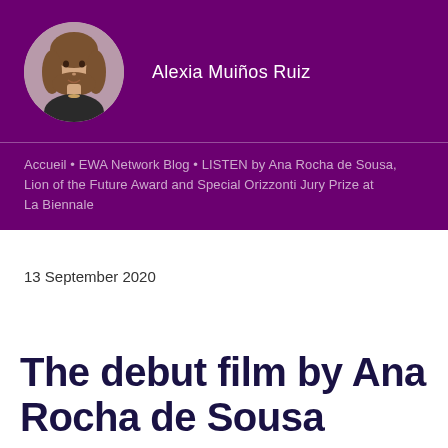[Figure (photo): Circular profile photo of Alexia Muiños Ruiz, a woman with long brown hair]
Alexia Muiños Ruiz
Accueil • EWA Network Blog • LISTEN by Ana Rocha de Sousa, Lion of the Future Award and Special Orizzonti Jury Prize at La Biennale
13 September 2020
The debut film by Ana Rocha de Sousa scoops